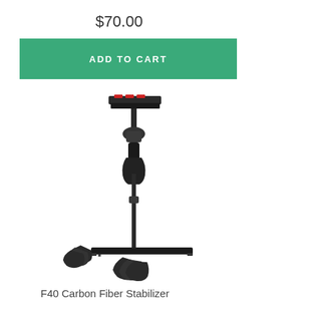$70.00
ADD TO CART
[Figure (photo): F40 Carbon Fiber Stabilizer product photo showing a camera stabilizer with handle, adjustable pole, camera mounting plate on top, base sled at bottom, and counter weights on the side]
F40 Carbon Fiber Stabilizer